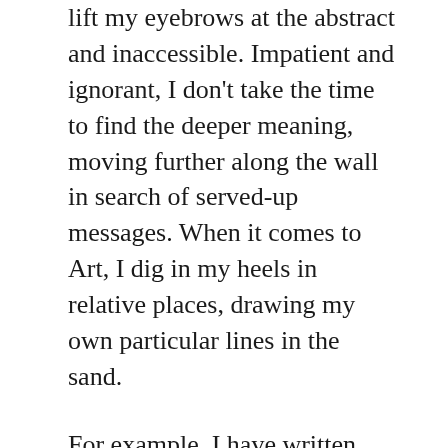lift my eyebrows at the abstract and inaccessible. Impatient and ignorant, I don't take the time to find the deeper meaning, moving further along the wall in search of served-up messages. When it comes to Art, I dig in my heels in relative places, drawing my own particular lines in the sand.
For example, I have written some artistically obscure songs like, “Becoming,” not caring whether anyone heard them or at least not worried that some might miss its message. However, I have certainly written songs with radio play in mind. Economic forces drove my compromise in